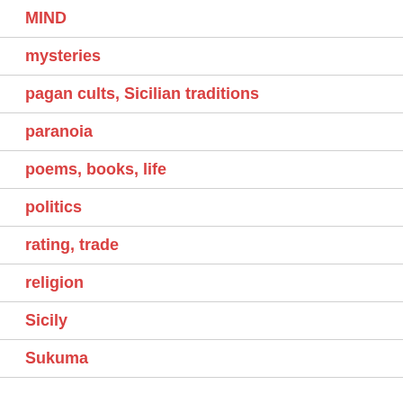MIND
mysteries
pagan cults, Sicilian traditions
paranoia
poems, books, life
politics
rating, trade
religion
Sicily
Sukuma